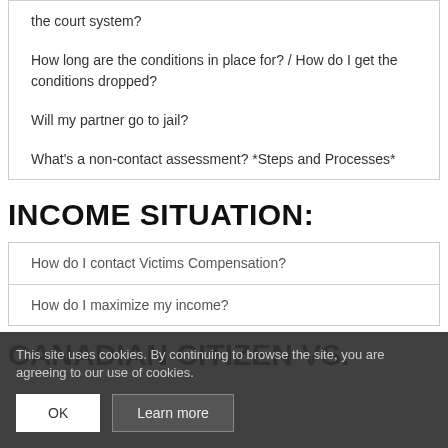the court system?
How long are the conditions in place for? / How do I get the conditions dropped?
Will my partner go to jail?
What's a non-contact assessment? *Steps and Processes*
INCOME SITUATION:
How do I contact Victims Compensation?
How do [I maximize my] income?
This site uses cookies. By continuing to browse the site, you are agreeing to our use of cookies.
CANADIAN CITIZEN vs.